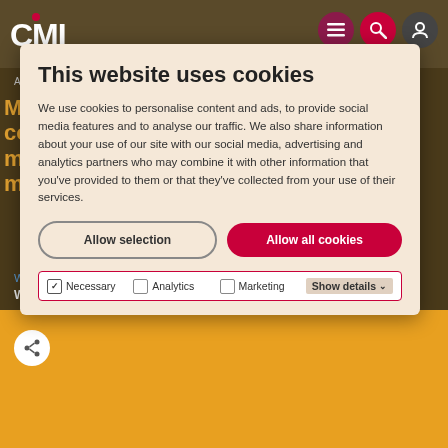[Figure (screenshot): CMI website header with logo and navigation icons (menu, search, user) on dark brownish background]
This website uses cookies
We use cookies to personalise content and ads, to provide social media features and to analyse our traffic. We also share information about your use of our site with our social media, advertising and analytics partners who may combine it with other information that you've provided to them or that they've collected from your use of their services.
Allow selection | Allow all cookies
Necessary | Analytics | Marketing | Show details
Article
Managing up: a complete guide to managing your manager
Written by CMI Insights
Wednesday 17 March 2021